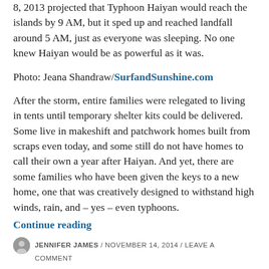8, 2013 projected that Typhoon Haiyan would reach the islands by 9 AM, but it sped up and reached landfall around 5 AM, just as everyone was sleeping. No one knew Haiyan would be as powerful as it was.
Photo: Jeana Shandraw/SurfandSunshine.com
After the storm, entire families were relegated to living in tents until temporary shelter kits could be delivered. Some live in makeshift and patchwork homes built from scraps even today, and some still do not have homes to call their own a year after Haiyan. And yet, there are some families who have been given the keys to a new home, one that was creatively designed to withstand high winds, rain, and – yes – even typhoons.
Continue reading
JENNIFER JAMES / NOVEMBER 14, 2014 / LEAVE A COMMENT